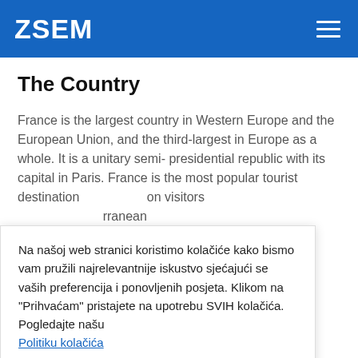ZSEM
The Country
France is the largest country in Western Europe and the European Union, and the third-largest in Europe as a whole. It is a unitary semi- presidential republic with its capital in Paris. France is the most popular tourist [destination] on visitors [Mediterr]ranean mountains in [the] peak of Mont [high]point. Due to [heat from] the south, [the river]. Also, the [ranking] in the world.
Na našoj web stranici koristimo kolačiće kako bismo vam pružili najrelevantnije iskustvo sjećajući se vaših preferencija i ponovljenih posjeta. Klikom na "Prihvaćam" pristajete na upotrebu SVIH kolačića. Pogledajte našu Politiku kolačića
The City